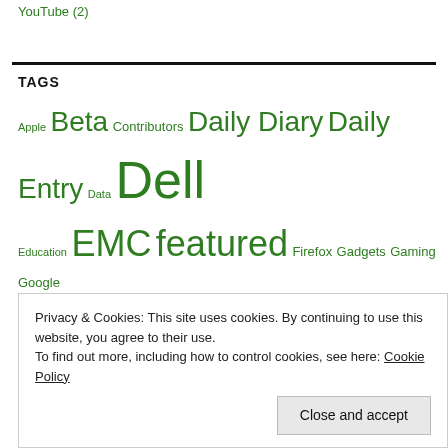YouTube (2)
TAGS
Apple Beta Contributors Daily Diary Daily Entry Data Dell Education EMC featured Firefox Gadgets Gaming Google Hacking Hard Drive Internet Linux Live Lynx Mac Metasploit Microsoft News Nikon Nmap Photography PowerShell PowerVault Programming SAN Security Site Software Sony SSD Storage Tech Terrorists Video
Privacy & Cookies: This site uses cookies. By continuing to use this website, you agree to their use. To find out more, including how to control cookies, see here: Cookie Policy Close and accept